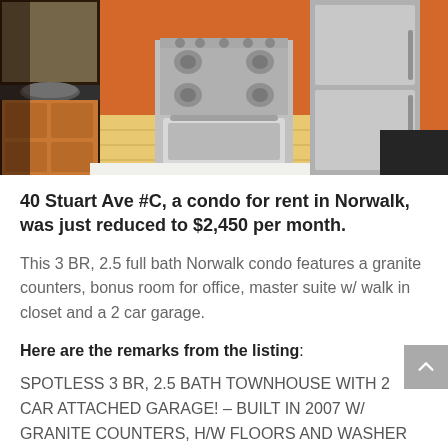[Figure (photo): Interior kitchen photo showing stainless steel gas range, wooden cabinets, dark granite countertops, stainless steel refrigerator, hardwood floors, and orange/red accent wall]
40 Stuart Ave #C, a condo for rent in Norwalk, was just reduced to $2,450 per month.
This 3 BR, 2.5 full bath Norwalk condo features a granite counters, bonus room for office, master suite w/ walk in closet and a 2 car garage.
Here are the remarks from the listing:
SPOTLESS 3 BR, 2.5 BATH TOWNHOUSE WITH 2 CAR ATTACHED GARAGE! – BUILT IN 2007 W/ GRANITE COUNTERS, H/W FLOORS AND WASHER